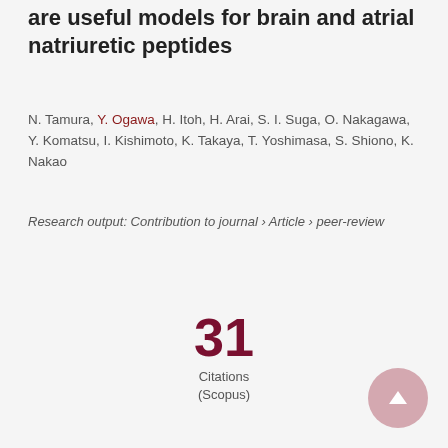are useful models for brain and atrial natriuretic peptides
N. Tamura, Y. Ogawa, H. Itoh, H. Arai, S. I. Suga, O. Nakagawa, Y. Komatsu, I. Kishimoto, K. Takaya, T. Yoshimasa, S. Shiono, K. Nakao
Research output: Contribution to journal › Article › peer-review
31 Citations (Scopus)